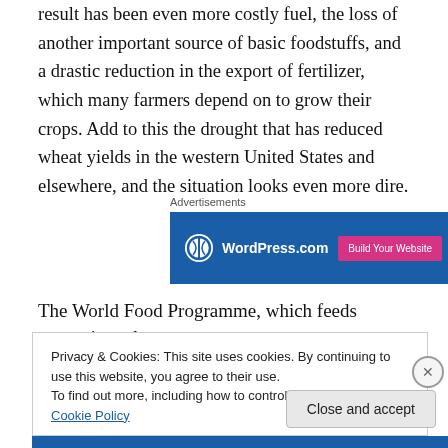result has been even more costly fuel, the loss of another important source of basic foodstuffs, and a drastic reduction in the export of fertilizer, which many farmers depend on to grow their crops. Add to this the drought that has reduced wheat yields in the western United States and elsewhere, and the situation looks even more dire.
[Figure (other): WordPress.com advertisement banner with blue background, WordPress logo and text, and a pink 'Build Your Website' button]
The World Food Programme, which feeds approximately
Privacy & Cookies: This site uses cookies. By continuing to use this website, you agree to their use.
To find out more, including how to control cookies, see here: Cookie Policy
Close and accept